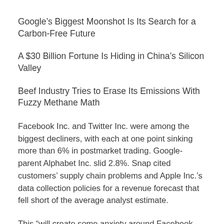Google's Biggest Moonshot Is Its Search for a Carbon-Free Future
A $30 Billion Fortune Is Hiding in China's Silicon Valley
Beef Industry Tries to Erase Its Emissions With Fuzzy Methane Math
Facebook Inc. and Twitter Inc. were among the biggest decliners, with each at one point sinking more than 6% in postmarket trading. Google-parent Alphabet Inc. slid 2.8%. Snap cited customers' supply chain problems and Apple Inc.'s data collection policies for a revenue forecast that fell short of the average analyst estimate.
This “will create some anxiety around Facebook and other